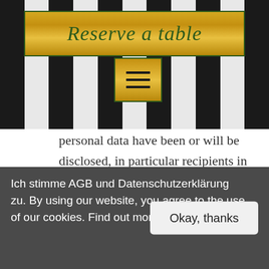[Figure (screenshot): Website header with black and white vertical stripes background, a gold banner reading 'Reserve a table' in italic green script, and a gold hamburger menu icon below it]
personal data have been or will be disclosed, in particular recipients in third countries or international organisations;
where possible, the envisaged period for which the personal data will be stored, or, if not possible, the criteria used to
Ich stimme AGB und Datenschutzerklärung zu. By using our website, you agree to the use of our cookies. Find out more.